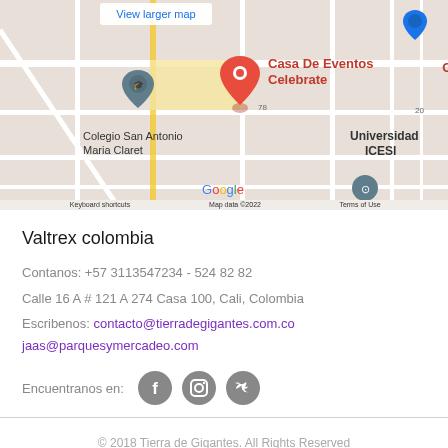[Figure (map): Google Maps screenshot showing Casa De Eventos Celebrate location near Colegio San Antonio Maria Claret and Universidad ICESI in Cali, Colombia. Includes a red location pin, a blue location pin, Google logo, and text: View larger map, Keyboard shortcuts, Map data ©2022, Terms of Use.]
Valtrex colombia
Contanos: +57 3113547234 - 524 82 82
Calle 16 A # 121 A 274 Casa 100, Cali, Colombia
Escribenos: contacto@tierradegigantes.com.co
jaas@parquesymercadeo.com
Encuentranos en:
© 2018 Tierra de Gigantes. All Rights Reserved